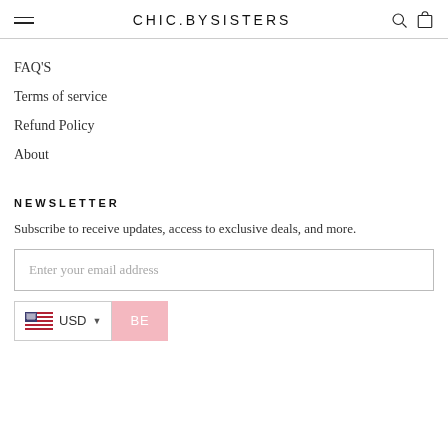CHIC.BYSISTERS
FAQ'S
Terms of service
Refund Policy
About
NEWSLETTER
Subscribe to receive updates, access to exclusive deals, and more.
Enter your email address
USD  BE